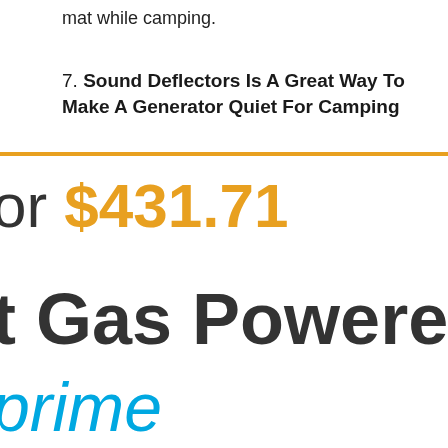mat while camping.
7. Sound Deflectors Is A Great Way To Make A Generator Quiet For Camping
or $431.71
t Gas Powered Po
prime